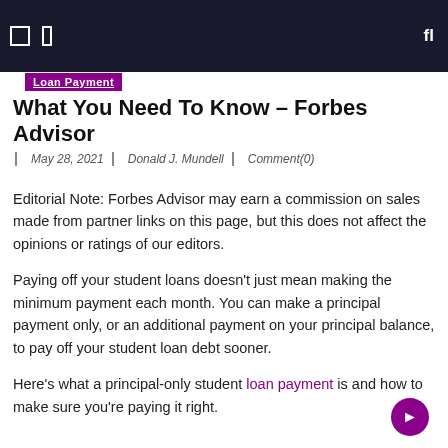Loan Payment
What You Need To Know – Forbes Advisor
May 28, 2021  Donald J. Mundell  Comment(0)
Editorial Note: Forbes Advisor may earn a commission on sales made from partner links on this page, but this does not affect the opinions or ratings of our editors.
Paying off your student loans doesn't just mean making the minimum payment each month. You can make a principal payment only, or an additional payment on your principal balance, to pay off your student loan debt sooner.
Here's what a principal-only student loan payment is and how to make sure you're paying it right.